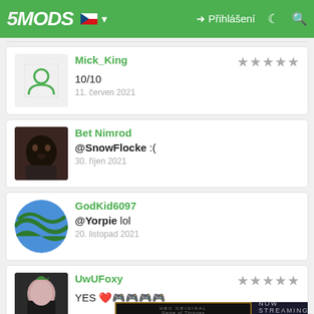5MODS — Přihlášení
Mick_King
10/10
11. červen 2021
Bet Nimrod
@SnowFlocke :(
30. říjen 2021
GodKid6097
@Yorpie lol
20. listopad 2021
UwUFoxy
YES ❤️🎮🎮🎮🎮
[Figure (screenshot): House of the Dragon HBO Max advertisement banner]